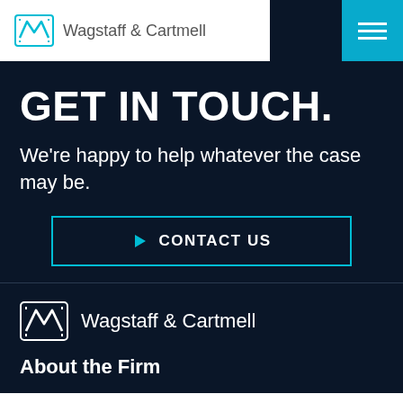Wagstaff & Cartmell
GET IN TOUCH.
We're happy to help whatever the case may be.
CONTACT US
[Figure (logo): Wagstaff & Cartmell logo with stylized W&C icon in white]
Wagstaff & Cartmell
About the Firm